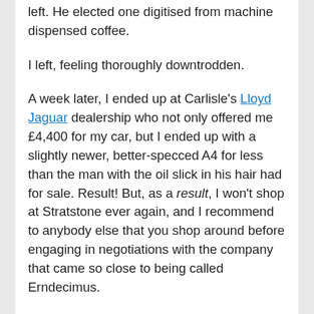left. He elected one digitised from machine dispensed coffee.
I left, feeling thoroughly downtrodden.
A week later, I ended up at Carlisle's Lloyd Jaguar dealership who not only offered me £4,400 for my car, but I ended up with a slightly newer, better-specced A4 for less than the man with the oil slick in his hair had for sale. Result! But, as a result, I won't shop at Stratstone ever again, and I recommend to anybody else that you shop around before engaging in negotiations with the company that came so close to being called Erndecimus.